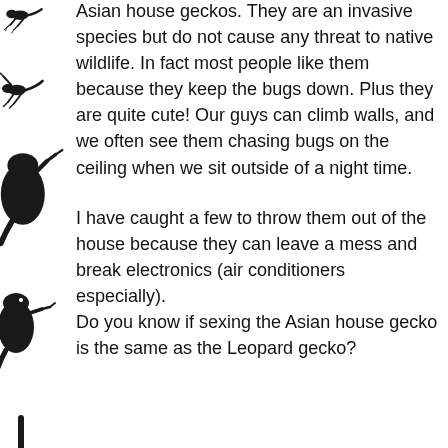[Figure (illustration): Left margin decorations showing multiple dark silhouettes of geckos/lizards at various positions along the left edge of the page]
Asian house geckos. They are an invasive species but do not cause any threat to native wildlife. In fact most people like them because they keep the bugs down. Plus they are quite cute! Our guys can climb walls, and we often see them chasing bugs on the ceiling when we sit outside of a night time.
I have caught a few to throw them out of the house because they can leave a mess and break electronics (air conditioners especially).
Do you know if sexing the Asian house gecko is the same as the Leopard gecko?